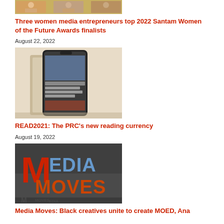[Figure (photo): Cropped photo of women at the top of the page]
Three women media entrepreneurs top 2022 Santam Women of the Future Awards finalists
August 22, 2022
[Figure (photo): Photo of two smartphones displaying a reading app]
READ2021: The PRC's new reading currency
August 19, 2022
[Figure (logo): Media Moves logo with red M and blue EDIA MOVES text on dark background]
Media Moves: Black creatives unite to create MOED, Ana